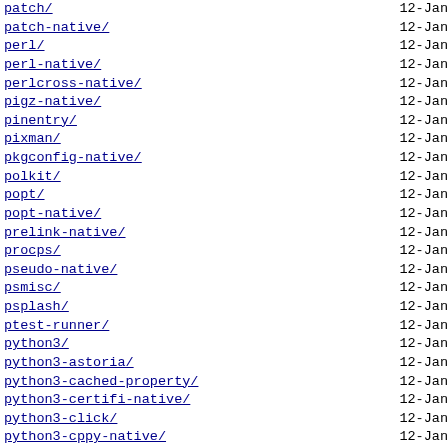patch/ 12-Jan
patch-native/ 12-Jan
perl/ 12-Jan
perl-native/ 12-Jan
perlcross-native/ 12-Jan
pigz-native/ 12-Jan
pinentry/ 12-Jan
pixman/ 12-Jan
pkgconfig-native/ 12-Jan
polkit/ 12-Jan
popt/ 12-Jan
popt-native/ 12-Jan
prelink-native/ 12-Jan
procps/ 12-Jan
pseudo-native/ 12-Jan
psmisc/ 12-Jan
psplash/ 12-Jan
ptest-runner/ 12-Jan
python3/ 12-Jan
python3-astoria/ 12-Jan
python3-cached-property/ 12-Jan
python3-certifi-native/ 12-Jan
python3-click/ 12-Jan
python3-cppy-native/ 12-Jan
python3-cycler/ 12-Jan
python3-cython-native/ 12-Jan
python3-dateutil/ 12-Jan
python3-dateutil-native/ 12-Jan
python3-dbus-next/ 12-Jan
python3-docopt/ 12-Jan
python3-... 12-Jan